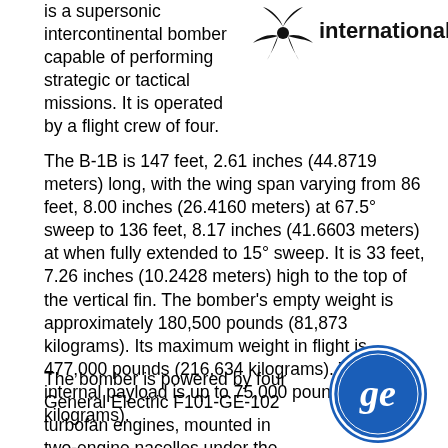[Figure (logo): Rockwell International logo — black radiation/fan symbol with text 'international' in bold sans-serif]
is a supersonic intercontinental bomber capable of performing strategic or tactical missions. It is operated by a flight crew of four.
The B-1B is 147 feet, 2.61 inches (44.8719 meters) long, with the wing span varying from 86 feet, 8.00 inches (26.4160 meters) at 67.5° sweep to 136 feet, 8.17 inches (41.6603 meters) at when fully extended to 15° sweep. It is 33 feet, 7.26 inches (10.2428 meters) high to the top of the vertical fin. The bomber's empty weight is approximately 180,500 pounds (81,873 kilograms). Its maximum weight in flight is 477,000 pounds (216,634 kilograms). The internal payload is up to 75,000 pounds (34,019 kilograms).
The bomber is powered by four General Electric F101-GE-102 turbofan engines, mounted in two-engine nacelles under the wing roots. These are rated at 17,390
[Figure (logo): General Electric circular logo — blue circle with white GE monogram script lettering]